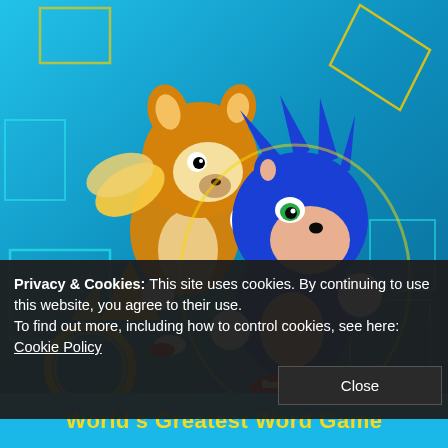[Figure (illustration): Promotional image for a Sonic the Hedgehog word game. Shows blue CGI Sonic the Hedgehog in the foreground running/punching pose, and orange/yellow Tails character behind him, against a bright teal/blue geometric background with yellow diamond outline shapes. At the bottom is a cookie consent banner overlay.]
Privacy & Cookies: This site uses cookies. By continuing to use this website, you agree to their use.
To find out more, including how to control cookies, see here: Cookie Policy
Close
World's Greatest Word Game